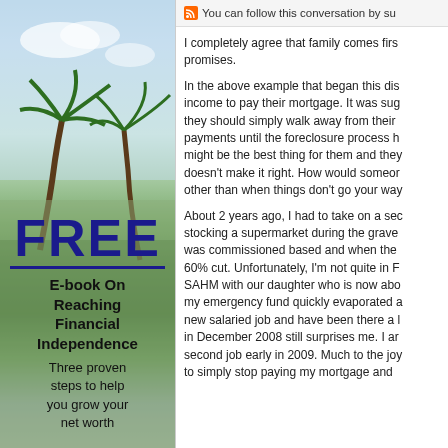[Figure (illustration): Sidebar advertisement with tropical background (sky, palm trees, beach scene) and text promoting a free e-book on reaching financial independence.]
FREE
E-book On Reaching Financial Independence
Three proven steps to help you grow your net worth
You can follow this conversation by su
I completely agree that family comes first promises.
In the above example that began this dis income to pay their mortgage. It was sug they should simply walk away from their payments until the foreclosure process h might be the best thing for them and they doesn't make it right. How would someor other than when things don't go your way
About 2 years ago, I had to take on a sec stocking a supermarket during the grave was commissioned based and when the 60% cut. Unfortunately, I'm not quite in F SAHM with our daughter who is now abo my emergency fund quickly evaporated a new salaried job and have been there a l in December 2008 still surprises me. I ar second job early in 2009. Much to the joy to simply stop paying my mortgage and